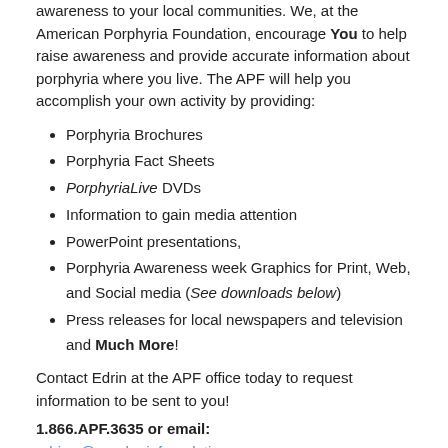awareness to your local communities. We, at the American Porphyria Foundation, encourage You to help raise awareness and provide accurate information about porphyria where you live. The APF will help you accomplish your own activity by providing:
Porphyria Brochures
Porphyria Fact Sheets
PorphyriaLive DVDs
Information to gain media attention
PowerPoint presentations,
Porphyria Awareness week Graphics for Print, Web, and Social media (See downloads below)
Press releases for local newspapers and television and Much More!
Contact Edrin at the APF office today to request information to be sent to you!
1.866.APF.3635 or email: edrinw@porphyriafoundation.org
Downloads:
U.S.: Porphyria Awareness Week complete package Includes (each packet can also be downloaded individually)